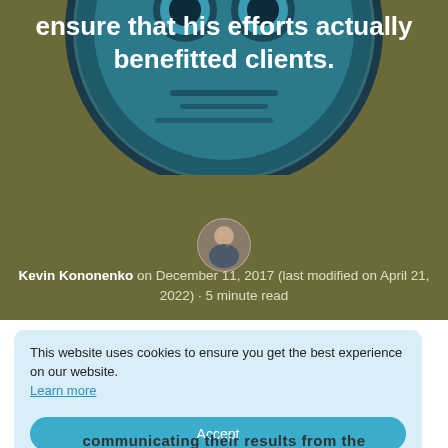[Figure (illustration): Circular illustration with dark teal/navy colors showing a robot or face-like figure, partially visible at top of page, overlaid with white hero text]
ensure that his efforts actually benefitted clients.
[Figure (photo): Small circular avatar photo of Kevin Kononenko, a young man]
Kevin Kononenko on December 11, 2017 (last modified on April 21, 2022) · 5 minute read
This website uses cookies to ensure you get the best experience on our website. Learn more
Accept
communicating their results from the